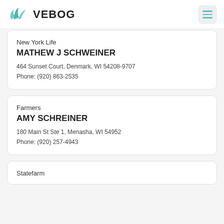VEBOG
New York Life
MATHEW J SCHWEINER
464 Sunset Court, Denmark, WI 54208-9707
Phone: (920) 863-2535
Farmers
AMY SCHREINER
180 Main St Ste 1, Menasha, WI 54952
Phone: (920) 257-4943
Statefarm